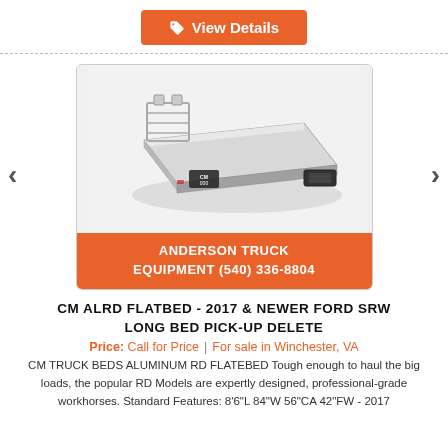[Figure (other): Orange 'View Details' button with tag icon at top of page]
[Figure (photo): Photo of a CM aluminum flatbed truck bed (ALRD model), silver/aluminum finish, with headache rack and fifth wheel hitch visible, displayed in a product listing carousel with left and right navigation arrows. Below the photo is an orange banner reading 'ANDERSON TRUCK EQUIPMENT (540) 336-8804'.]
CM ALRD FLATBED - 2017 & NEWER FORD SRW LONG BED PICK-UP DELETE
Price: Call for Price | For sale in Winchester, VA
CM TRUCK BEDS ALUMINUM RD FLATEBED Tough enough to haul the big loads, the popular RD Models are expertly designed, professional-grade workhorses. Standard Features: 8'6"L 84"W 56"CA 42"FW - 2017